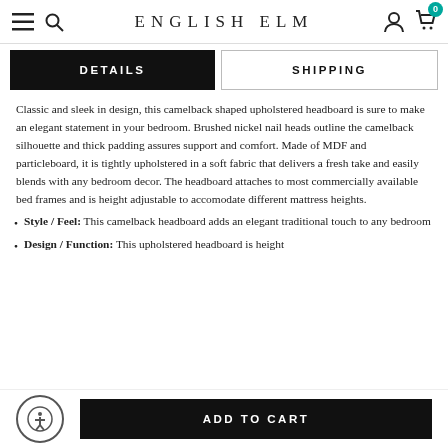ENGLISH ELM
DETAILS | SHIPPING
Classic and sleek in design, this camelback shaped upholstered headboard is sure to make an elegant statement in your bedroom. Brushed nickel nail heads outline the camelback silhouette and thick padding assures support and comfort. Made of MDF and particleboard, it is tightly upholstered in a soft fabric that delivers a fresh take and easily blends with any bedroom decor. The headboard attaches to most commercially available bed frames and is height adjustable to accomodate different mattress heights.
Style / Feel: This camelback headboard adds an elegant traditional touch to any bedroom
Design / Function: This upholstered headboard is height